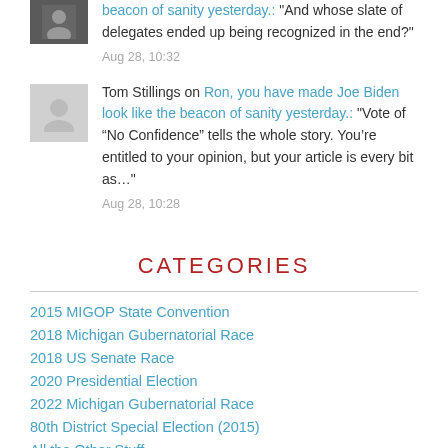beacon of sanity yesterday.: "And whose slate of delegates ended up being recognized in the end?"
Aug 28, 10:32
Tom Stillings on Ron, you have made Joe Biden look like the beacon of sanity yesterday.: "Vote of “No Confidence” tells the whole story. You’re entitled to your opinion, but your article is every bit as…"
Aug 28, 10:28
CATEGORIES
2015 MIGOP State Convention
2018 Michigan Gubernatorial Race
2018 US Senate Race
2020 Presidential Election
2022 Michigan Gubernatorial Race
80th District Special Election (2015)
All the Other Stuff
Conservative News